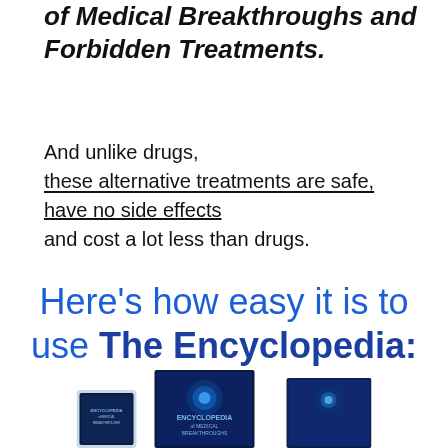of Medical Breakthroughs and Forbidden Treatments.
And unlike drugs, these alternative treatments are safe, have no side effects and cost a lot less than drugs.
Here's how easy it is to use The Encyclopedia:
[Figure (photo): Book covers of the Encyclopedia of Medical Breakthroughs and Forbidden Treatments, showing multiple formats (tablet, books)]